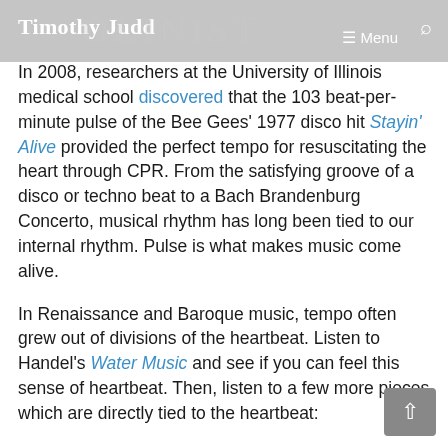Timothy Judd
In 2008, researchers at the University of Illinois medical school discovered that the 103 beat-per-minute pulse of the Bee Gees' 1977 disco hit Stayin' Alive provided the perfect tempo for resuscitating the heart through CPR. From the satisfying groove of a disco or techno beat to a Bach Brandenburg Concerto, musical rhythm has long been tied to our internal rhythm. Pulse is what makes music come alive.
In Renaissance and Baroque music, tempo often grew out of divisions of the heartbeat. Listen to Handel's Water Music and see if you can feel this sense of heartbeat. Then, listen to a few more pieces which are directly tied to the heartbeat: